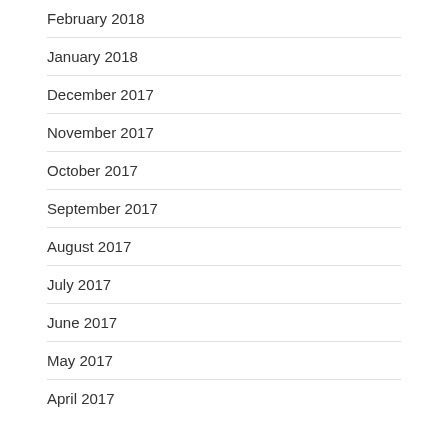February 2018
January 2018
December 2017
November 2017
October 2017
September 2017
August 2017
July 2017
June 2017
May 2017
April 2017